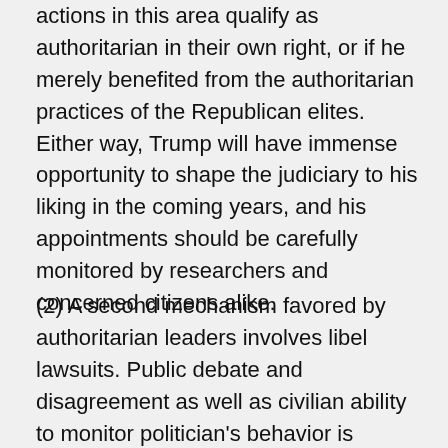actions in this area qualify as authoritarian in their own right, or if he merely benefited from the authoritarian practices of the Republican elites. Either way, Trump will have immense opportunity to shape the judiciary to his liking in the coming years, and his appointments should be carefully monitored by researchers and concerned citizens alike.
(2) A second mechanism favored by authoritarian leaders involves libel lawsuits. Public debate and disagreement as well as civilian ability to monitor politician's behavior is necessary to any healthy democracy. In order to stem public criticism, incumbents can use libel lawsuits to lash out against figures they deem to be unfriendly. While such a technique